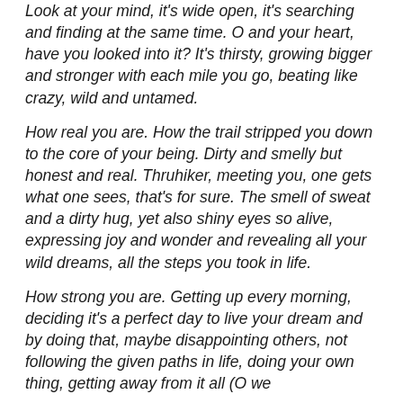Look at your mind, it's wide open, it's searching and finding at the same time. O and your heart, have you looked into it? It's thirsty, growing bigger and stronger with each mile you go, beating like crazy, wild and untamed.
How real you are. How the trail stripped you down to the core of your being. Dirty and smelly but honest and real. Thruhiker, meeting you, one gets what one sees, that's for sure. The smell of sweat and a dirty hug, yet also shiny eyes so alive, expressing joy and wonder and revealing all your wild dreams, all the steps you took in life.
How strong you are. Getting up every morning, deciding it's a perfect day to live your dream and by doing that, maybe disappointing others, not following the given paths in life, doing your own thing, getting away from it all (O we